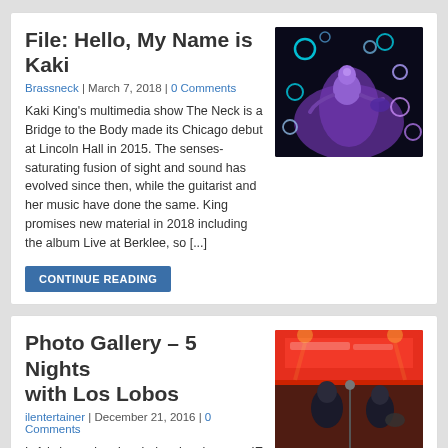File: Hello, My Name is Kaki
Brassneck | March 7, 2018 | 0 Comments
Kaki King's multimedia show The Neck is a Bridge to the Body made its Chicago debut at Lincoln Hall in 2015. The senses-saturating fusion of sight and sound has evolved since then, while the guitarist and her music have done the same. King promises new material in 2018 including the album Live at Berklee, so [...]
[Figure (photo): Dark concert photo of performer on stage with colorful circular lights against black background]
CONTINUE READING
Photo Gallery – 5 Nights with Los Lobos
ilentertainer | December 21, 2016 | 0 Comments
L.A.'s legendary Los Lobos has been an IE favorite since their days on Slash Records.
[Figure (photo): Concert photo of band members performing on stage with red/pink background banner]